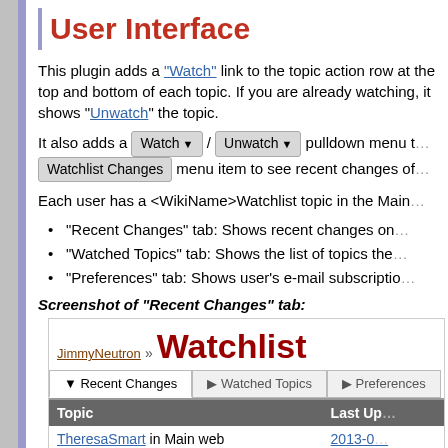User Interface
This plugin adds a "Watch" link to the topic action row at the top and bottom of each topic. If you are already watching, it shows "Unwatch" the topic.
It also adds a Watch / Unwatch pulldown menu to... Watchlist Changes menu item to see recent changes of...
Each user has a <WikiName>Watchlist topic in the Main...
"Recent Changes" tab: Shows recent changes on...
"Watched Topics" tab: Shows the list of topics the...
"Preferences" tab: Shows user's e-mail subscriptio...
Screenshot of "Recent Changes" tab:
[Figure (screenshot): Screenshot of Watchlist page showing JimmyNeutron » Watchlist with tabs: Recent Changes (active), Watched Topics, Preferences. Table with columns Topic and Last Up... showing rows: TheresaSmart in Main web (2013-03...) and PeterTheory in Main web (2013-...)]